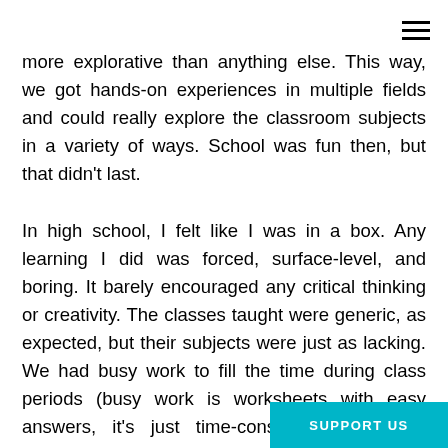≡
more explorative than anything else. This way, we got hands-on experiences in multiple fields and could really explore the classroom subjects in a variety of ways. School was fun then, but that didn't last.
In high school, I felt like I was in a box. Any learning I did was forced, surface-level, and boring. It barely encouraged any critical thinking or creativity. The classes taught were generic, as expected, but their subjects were just as lacking. We had busy work to fill the time during class periods (busy work is worksheets with easy answers, it's just time-consumi... often not allowed to communic...
[Figure (other): SUPPORT US button in teal/cyan color at bottom right corner]